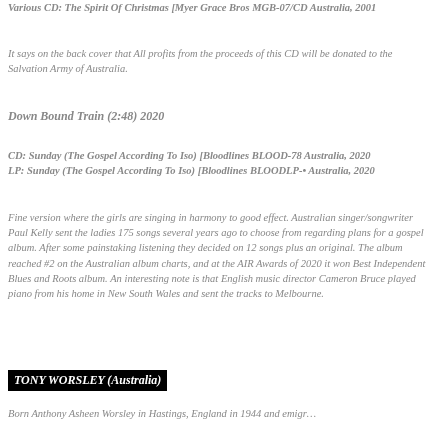Various CD: The Spirit Of Christmas [Myer Grace Bros MGB-07/CD Australia, 2001
It says on the back cover that All profits from the proceeds of this CD will be donated to the Salvation Army of Australia.
Down Bound Train (2:48) 2020
CD: Sunday (The Gospel According To Iso) [Bloodlines BLOOD-78 Australia, 2020
LP: Sunday (The Gospel According To Iso) [Bloodlines BLOODLP- • Australia, 2020
Fine version where the girls are singing in harmony to good effect. Australian singer/songwriter Paul Kelly sent the ladies 175 songs several years ago to choose from regarding plans for a gospel album. After some painstaking listening they decided on 12 songs plus an original. The album reached #2 on the Australian album charts, and at the AIR Awards of 2020 it won Best Independent Blues and Roots album. An interesting note is that English music director Cameron Bruce played piano from his home in New South Wales and sent the tracks to Melbourne.
TONY WORSLEY (Australia)
Born Anthony Asheen Worsley in Hastings, England in 1944 and emigr...